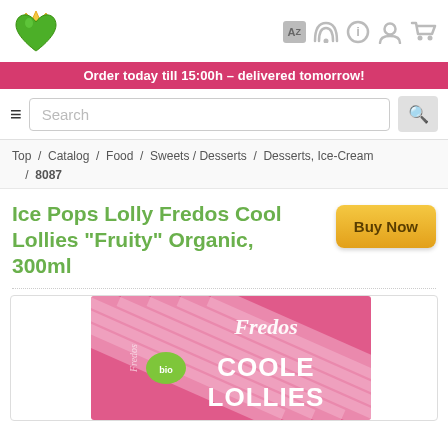[Logo: green heart with crown] [Icons: AZ, RSS, info, user, cart]
Order today till 15:00h - delivered tomorrow!
Search
Top / Catalog / Food / Sweets / Desserts / Desserts, Ice-Cream / 8087
Ice Pops Lolly Fredos Cool Lollies "Fruity" Organic, 300ml
Buy Now
[Figure (photo): Pink and white striped Fredos Bio Coole Lollies product box]